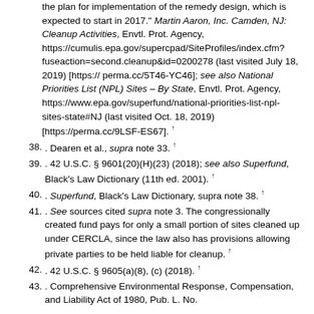(continuation) the plan for implementation of the remedy design, which is expected to start in 2017." Martin Aaron, Inc. Camden, NJ: Cleanup Activities, Envtl. Prot. Agency, https://cumulis.epa.gov/supercpad/SiteProfiles/index.cfm?fuseaction=second.cleanup&id=0200278 (last visited July 18, 2019) [https://perma.cc/5T46-YC46]; see also National Priorities List (NPL) Sites – By State, Envtl. Prot. Agency, https://www.epa.gov/superfund/national-priorities-list-npl-sites-state#NJ (last visited Oct. 18, 2019) [https://perma.cc/9LSF-ES67]. ↑
38. . Dearen et al., supra note 33. ↑
39. . 42 U.S.C. § 9601(20)(H)(23) (2018); see also Superfund, Black's Law Dictionary (11th ed. 2001). ↑
40. . Superfund, Black's Law Dictionary, supra note 38. ↑
41. . See sources cited supra note 3. The congressionally created fund pays for only a small portion of sites cleaned up under CERCLA, since the law also has provisions allowing private parties to be held liable for cleanup. ↑
42. . 42 U.S.C. § 9605(a)(8), (c) (2018). ↑
43. . Comprehensive Environmental Response, Compensation, and Liability Act of 1980, Pub. L. No.